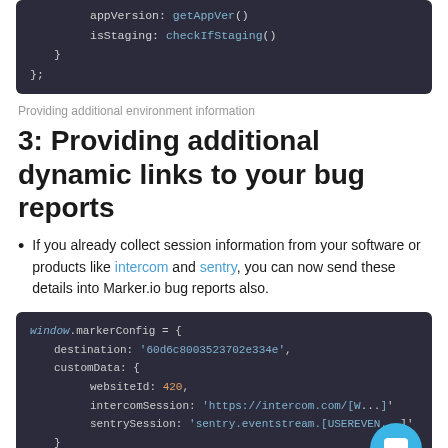[Figure (screenshot): Dark-themed code block showing appVersion: getAppVer() and isStaging: checkIfStaging() inside a closing brace, followed by };]
Providing additional environment information
3: Providing additional dynamic links to your bug reports
If you already collect session information from your software or products like intercom and sentry, you can now send these details into Marker.io bug reports also.
[Figure (screenshot): Dark-themed code block showing window.markerConfig = { destination: '60d6c8003523702e334e', customData: { websiteId: 420, intercomSession: 'https://intercom.com/[W...', sentrySession: 'sentry.eventstream.[USEREVEN...' }]